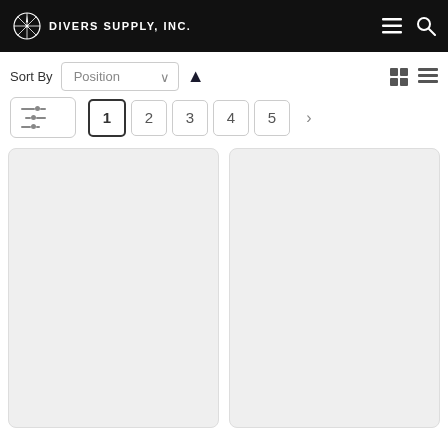DIVERS SUPPLY, INC.
Sort By  Position
1  2  3  4  5  >
[Figure (screenshot): Two empty product card placeholders in a grid layout]
[Figure (screenshot): Second empty product card placeholder]